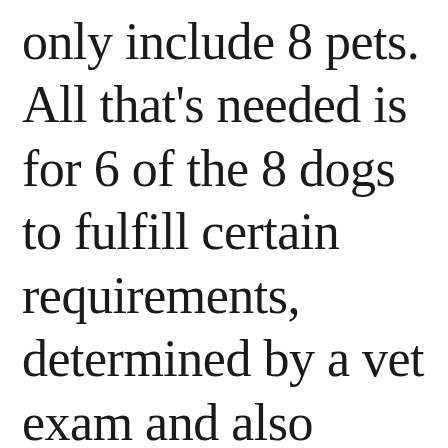only include 8 pets. All that's needed is for 6 of the 8 dogs to fulfill certain requirements, determined by a vet exam and also specific blood work parameters, at the